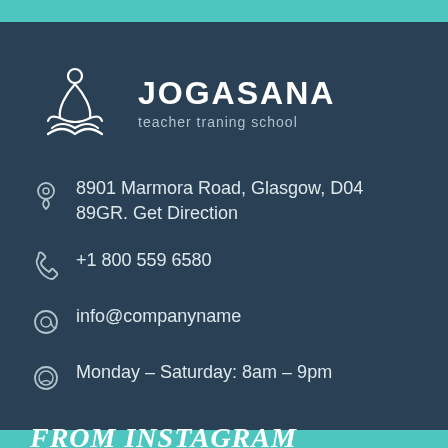[Figure (logo): Jogasana yoga teacher training school logo with meditating figure icon and brand name]
8901 Marmora Road, Glasgow, D04 89GR. Get Direction
+1 800 559 6580
info@companyname
Monday – Saturday: 8am – 9pm
FROM INSTAGRAM